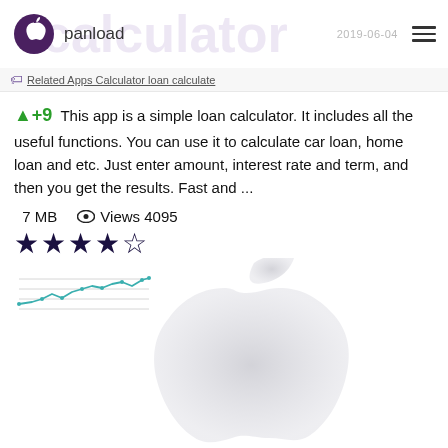panload
Related Apps Calculator loan calculate
+9  This app is a simple loan calculator. It includes all the useful functions. You can use it to calculate car loan, home loan and etc. Just enter amount, interest rate and term, and then you get the results. Fast and ...
7 MB   Views 4095
★★★★☆
[Figure (line-chart): Small thumbnail line chart showing app trend data]
[Figure (logo): Large faded Apple logo watermark in background]